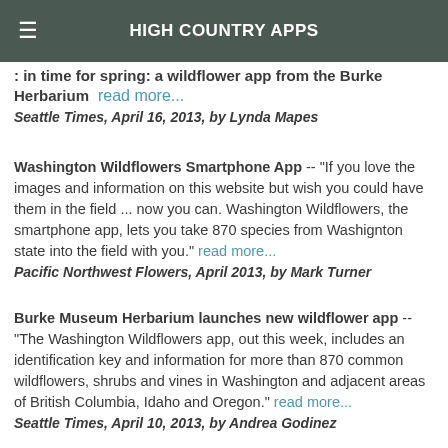HIGH COUNTRY APPS
: in time for spring: a wildflower app from the Burke Herbarium read more...
Seattle Times, April 16, 2013, by Lynda Mapes
Washington Wildflowers Smartphone App -- "If you love the images and information on this website but wish you could have them in the field ... now you can. Washington Wildflowers, the smartphone app, lets you take 870 species from Washignton state into the field with you." read more...
Pacific Northwest Flowers, April 2013, by Mark Turner
Burke Museum Herbarium launches new wildflower app -- "The Washington Wildflowers app, out this week, includes an identification key and information for more than 870 common wildflowers, shrubs and vines in Washington and adjacent areas of British Columbia, Idaho and Oregon." read more...
Seattle Times, April 10, 2013, by Andrea Godinez